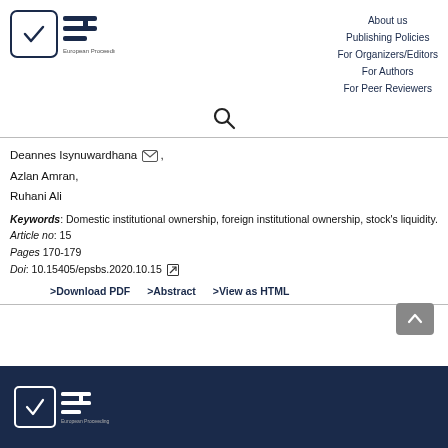[Figure (logo): European Proceedings logo with checkbox and EP monogram]
About us
Publishing Policies
For Organizers/Editors
For Authors
For Peer Reviewers
Deannes Isynuwardhana [email], Azlan Amran, Ruhani Ali
Keywords: Domestic institutional ownership, foreign institutional ownership, stock's liquidity.
Article no: 15
Pages 170-179
Doi: 10.15405/epsbs.2020.10.15
>Download PDF    >Abstract    >View as HTML
[Figure (logo): European Proceedings footer logo on dark background]